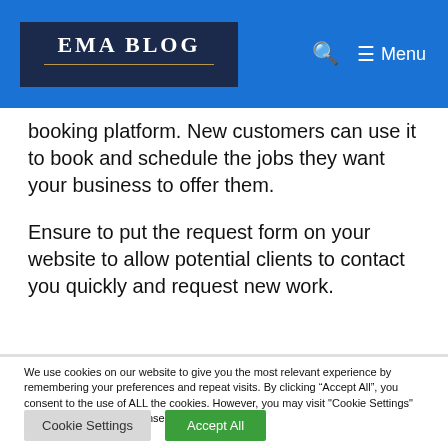EMA BLOG | Menu
booking platform. New customers can use it to book and schedule the jobs they want your business to offer them.
Ensure to put the request form on your website to allow potential clients to contact you quickly and request new work.
We use cookies on our website to give you the most relevant experience by remembering your preferences and repeat visits. By clicking “Accept All”, you consent to the use of ALL the cookies. However, you may visit "Cookie Settings" to provide a controlled consent.